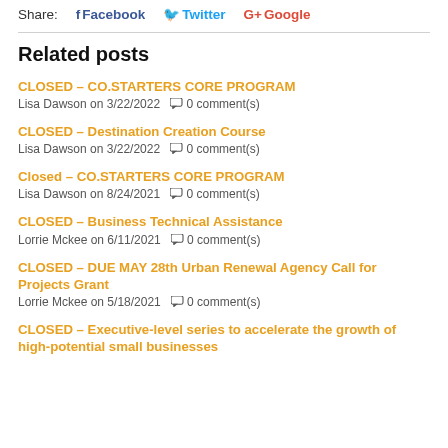Share: Facebook Twitter Google
Related posts
CLOSED - CO.STARTERS CORE PROGRAM
Lisa Dawson on 3/22/2022  0 comment(s)
CLOSED - Destination Creation Course
Lisa Dawson on 3/22/2022  0 comment(s)
Closed - CO.STARTERS CORE PROGRAM
Lisa Dawson on 8/24/2021  0 comment(s)
CLOSED - Business Technical Assistance
Lorrie Mckee on 6/11/2021  0 comment(s)
CLOSED - DUE MAY 28th Urban Renewal Agency Call for Projects Grant
Lorrie Mckee on 5/18/2021  0 comment(s)
CLOSED - Executive-level series to accelerate the growth of high-potential small businesses